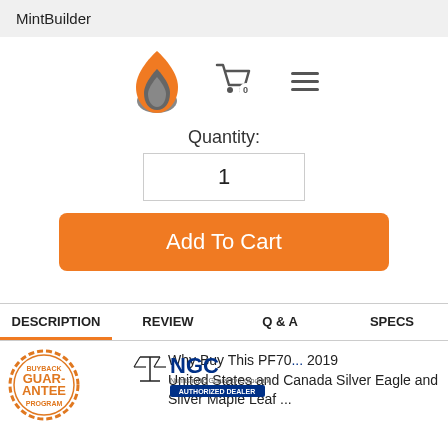MintBuilder
[Figure (logo): MintBuilder flame logo, shopping cart icon with badge showing 0, and hamburger menu icon]
Quantity:
1
Add To Cart
DESCRIPTION  REVIEW  Q & A  SPECS
[Figure (logo): NGC Authorized Dealer logo and NGC balance scales emblem]
Why Buy This PF70 ... 2019 United States and Canada Silver Eagle and Silver Maple Leaf ...